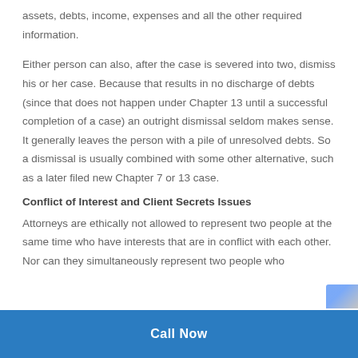assets, debts, income, expenses and all the other required information.
Either person can also, after the case is severed into two, dismiss his or her case. Because that results in no discharge of debts (since that does not happen under Chapter 13 until a successful completion of a case) an outright dismissal seldom makes sense. It generally leaves the person with a pile of unresolved debts. So a dismissal is usually combined with some other alternative, such as a later filed new Chapter 7 or 13 case.
Conflict of Interest and Client Secrets Issues
Attorneys are ethically not allowed to represent two people at the same time who have interests that are in conflict with each other. Nor can they simultaneously represent two people who
Call Now